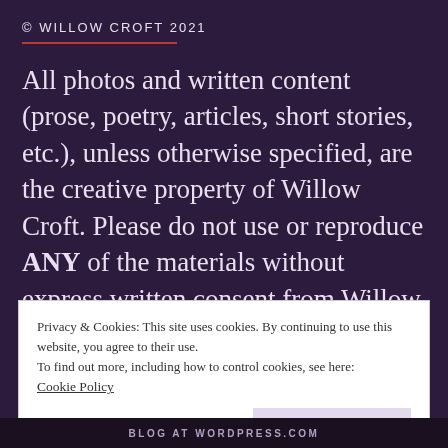© WILLOW CROFT 2021
All photos and written content (prose, poetry, articles, short stories, etc.), unless otherwise specified, are the creative property of Willow Croft. Please do not use or reproduce ANY of the materials without express written consent from Willow Croft or other individuals whose work is shared on this blog. Thank you! © Willow Croft 2022
Privacy & Cookies: This site uses cookies. By continuing to use this website, you agree to their use.
To find out more, including how to control cookies, see here:
Cookie Policy
BLOG AT WORDPRESS.COM